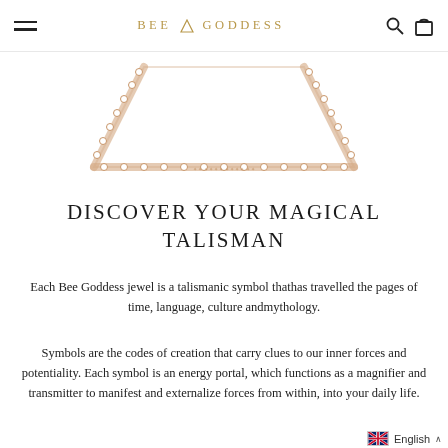BEE GODDESS
[Figure (photo): A diamond-encrusted rose gold trapezoid-shaped jewelry piece (necklace pendant), photographed on white background, partially cropped at top.]
DISCOVER YOUR MAGICAL TALISMAN
Each Bee Goddess jewel is a talismanic symbol thathas travelled the pages of time, language, culture andmythology.
Symbols are the codes of creation that carry clues to our inner forces and potentiality. Each symbol is an energy portal, which functions as a magnifier and transmitter to manifest and externalize forces from within, into your daily life.
English